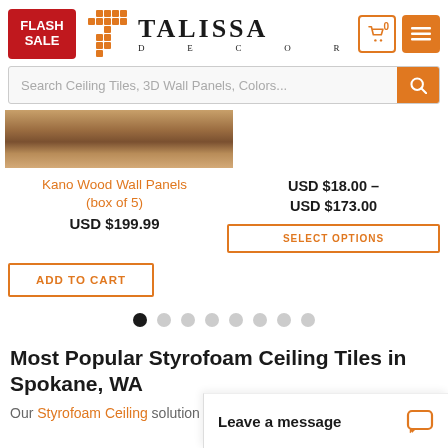[Figure (screenshot): Talissa Decor website header with Flash Sale badge, logo with orange T grid icon, TALISSA DECOR text, cart icon showing 0, and hamburger menu button]
[Figure (screenshot): Search bar with placeholder text 'Search Ceiling Tiles, 3D Wall Panels, Colors...' and orange search button]
[Figure (photo): Cropped product image of Kano Wood Wall Panels showing wood texture]
Kano Wood Wall Panels (box of 5)
USD $199.99
USD $18.00 – USD $173.00
[Figure (screenshot): SELECT OPTIONS button with orange outline]
[Figure (screenshot): ADD TO CART button with orange outline]
[Figure (other): Carousel pagination dots, 8 total, first dot filled black, rest grey]
Most Popular Styrofoam Ceiling Tiles in Spokane, WA
Our Styrofoam Ceiling solution for anyone lo...
[Figure (screenshot): Leave a message chat widget in bottom right corner with chat bubble icon in orange]